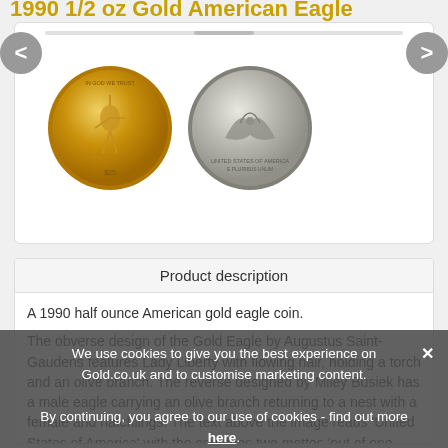1990 1/2 oz Gold American Eagle
[Figure (photo): Two coin images: a gold American Eagle coin (obverse showing Lady Liberty) and a silver/reverse side of the coin showing an eagle]
Product description
A 1990 half ounce American gold eagle coin.

The obverse design of the Gold Eagle by Augustus Saint-Gaudens features Lady Liberty with flowing hair, holding a torch and an olive branch. The reverse designed by Miley Busiek has a male eagle carrying an olive branch returning to a nest with a female and hatchlings. The text above the image reads 'United States of America' with the countries two mottos 'out of one, many' (written in latin) and 'in God we trust' on either side. The pure gold weight of half an ounce, and the denomination of twenty five dollars are listed below.
We use cookies to give you the best experience on Gold.co.uk and to customise marketing content.

By continuing, you agree to our use of cookies - find out more here.